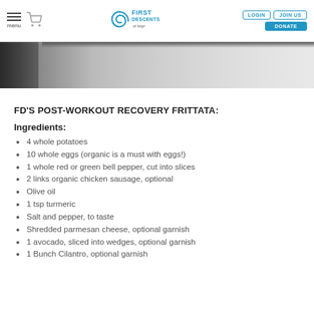First Descents — LOGIN | JOIN US | DONATE | menu
[Figure (photo): Partial hero/banner image showing a dark surface on left and light marble/snow texture on right]
FD'S POST-WORKOUT RECOVERY FRITTATA:
Ingredients:
4 whole potatoes
10 whole eggs (organic is a must with eggs!)
1 whole red or green bell pepper, cut into slices
2 links organic chicken sausage, optional
Olive oil
1 tsp turmeric
Salt and pepper, to taste
Shredded parmesan cheese, optional garnish
1 avocado, sliced into wedges, optional garnish
1 Bunch Cilantro, optional garnish